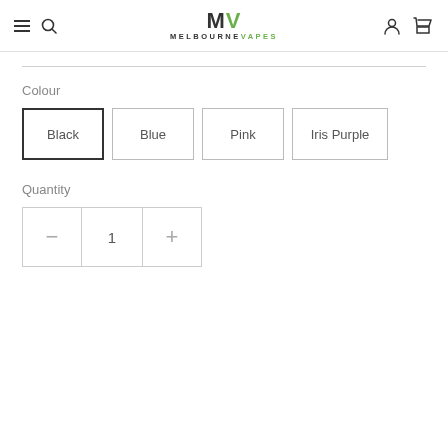Melbourne Vapes — navigation header with hamburger menu, search, logo, account, and cart icons
Colour
Black | Blue | Pink | Iris Purple
Quantity
- 1 +